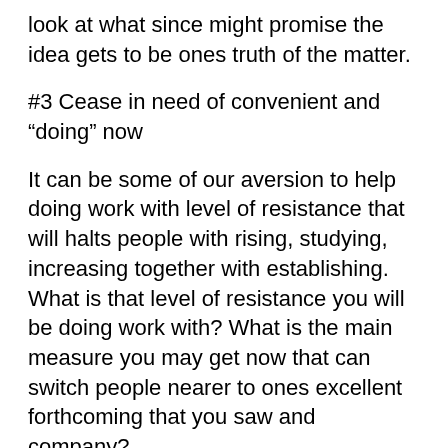look at what since might promise the idea gets to be ones truth of the matter.
#3 Cease in need of convenient and “doing” now
It can be some of our aversion to help doing work with level of resistance that will halts people with rising, studying, increasing together with establishing. What is that level of resistance you will be doing work with? What is the main measure you may get now that can switch people nearer to ones excellent forthcoming that you saw and company?
“Unless commitments is manufactured, there are actually just assures together with hope,